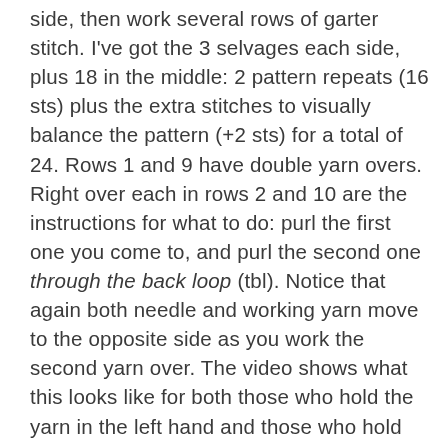side, then work several rows of garter stitch. I've got the 3 selvages each side, plus 18 in the middle: 2 pattern repeats (16 sts) plus the extra stitches to visually balance the pattern (+2 sts) for a total of 24. Rows 1 and 9 have double yarn overs. Right over each in rows 2 and 10 are the instructions for what to do: purl the first one you come to, and purl the second one through the back loop (tbl). Notice that again both needle and working yarn move to the opposite side as you work the second yarn over. The video shows what this looks like for both those who hold the yarn in the left hand and those who hold the yarn in the right hand.